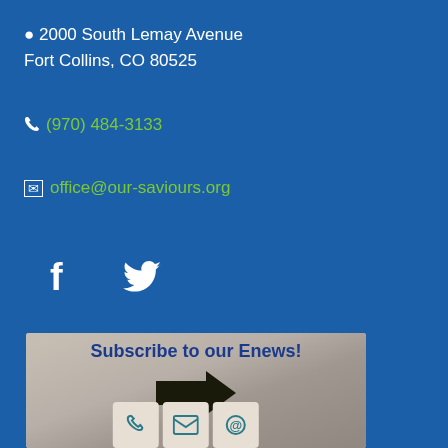📍 2000 South Lemay Avenue
Fort Collins, CO 80525
📞 (970) 484-3133
✉ office@our-saviours.org
[Figure (illustration): Social media icons: Facebook (f) and Twitter (bird) in white on blue background]
[Figure (photo): Subscribe to our Enews! banner image with a large right-pointing arrow and three wooden blocks showing phone, email, and at-sign icons on a keyboard/desk background]